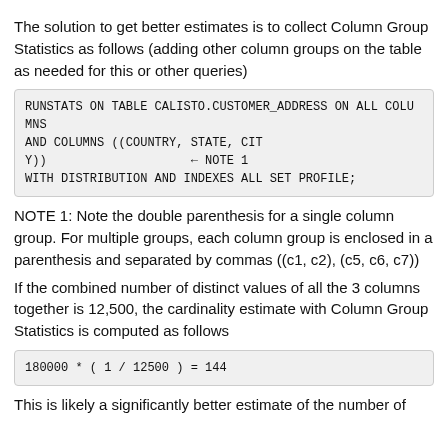The solution to get better estimates is to collect Column Group Statistics as follows (adding other column groups on the table as needed for this or other queries)
RUNSTATS ON TABLE CALISTO.CUSTOMER_ADDRESS ON ALL COLUMNS
AND COLUMNS ((COUNTRY, STATE, CIT
Y))                    ← NOTE 1
WITH DISTRIBUTION AND INDEXES ALL SET PROFILE;
NOTE 1: Note the double parenthesis for a single column group. For multiple groups, each column group is enclosed in a parenthesis and separated by commas ((c1, c2), (c5, c6, c7))
If the combined number of distinct values of all the 3 columns together is 12,500, the cardinality estimate with Column Group Statistics is computed as follows
180000 * ( 1 / 12500 ) = 144
This is likely a significantly better estimate of the number of